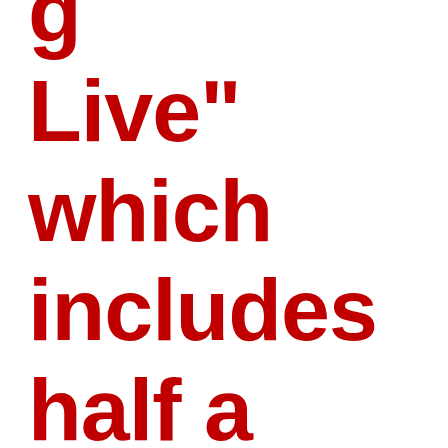g Live" which includes half a dozen new tracks, [continues]